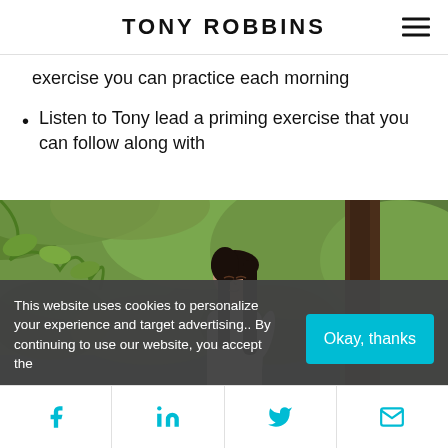TONY ROBBINS
exercise you can practice each morning
Listen to Tony lead a priming exercise that you can follow along with
[Figure (photo): Woman with long dark hair wearing white top, standing outdoors near a tree with green foliage and a body of water in background, eyes closed in a peaceful/meditative pose]
This website uses cookies to personalize your experience and target advertising.. By continuing to use our website, you accept the
Okay, thanks